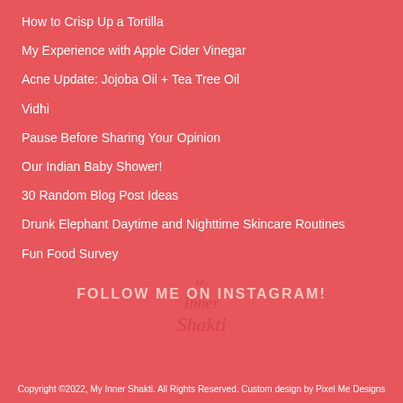How to Crisp Up a Tortilla
My Experience with Apple Cider Vinegar
Acne Update: Jojoba Oil + Tea Tree Oil
Vidhi
Pause Before Sharing Your Opinion
Our Indian Baby Shower!
30 Random Blog Post Ideas
Drunk Elephant Daytime and Nighttime Skincare Routines
Fun Food Survey
FOLLOW ME ON INSTAGRAM!
[Figure (logo): My Inner Shakti watermark logo in script text]
Copyright ©2022, My Inner Shakti. All Rights Reserved. Custom design by Pixel Me Designs